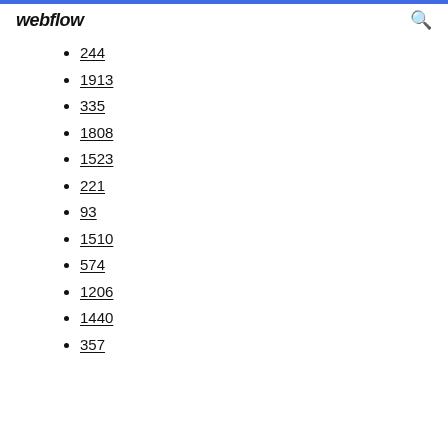webflow
244
1913
335
1808
1523
221
93
1510
574
1206
1440
357